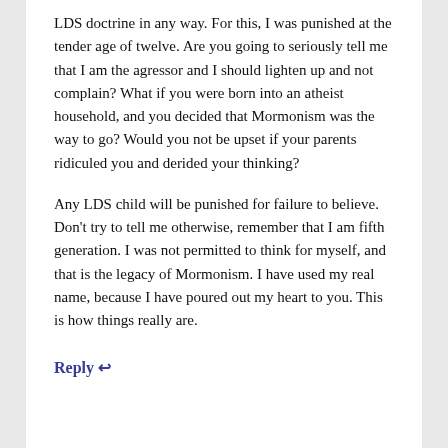LDS doctrine in any way. For this, I was punished at the tender age of twelve. Are you going to seriously tell me that I am the agressor and I should lighten up and not complain? What if you were born into an atheist household, and you decided that Mormonism was the way to go? Would you not be upset if your parents ridiculed you and derided your thinking?

Any LDS child will be punished for failure to believe. Don't try to tell me otherwise, remember that I am fifth generation. I was not permitted to think for myself, and that is the legacy of Mormonism. I have used my real name, because I have poured out my heart to you. This is how things really are.
Reply ↩